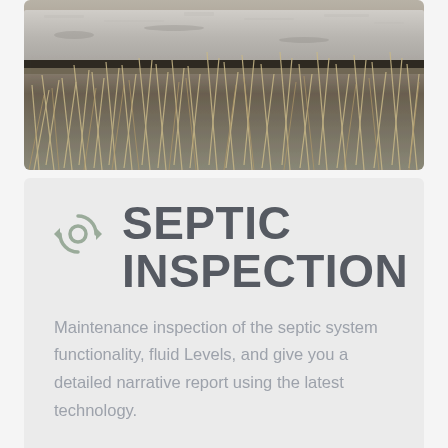[Figure (photo): Close-up photograph of a septic tank or concrete structure partially covered by dry grass and soil, showing aged concrete edge and dead/dry vegetation.]
SEPTIC INSPECTION
Maintenance inspection of the septic system functionality, fluid Levels, and give you a detailed narrative report using the latest technology.